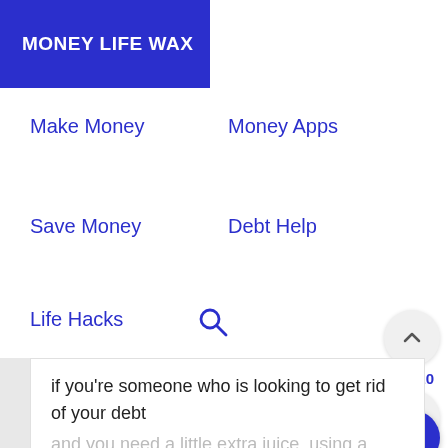MONEY LIFE WAX
Make Money
Money Apps
Save Money
Debt Help
Life Hacks
if you're someone who is looking to get rid of your debt
and you need a little extra juice, using a spare change